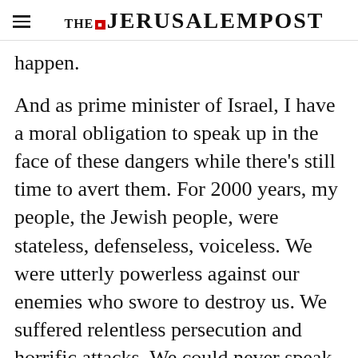THE JERUSALEM POST
happen.
And as prime minister of Israel, I have a moral obligation to speak up in the face of these dangers while there's still time to avert them. For 2000 years, my people, the Jewish people, were stateless, defenseless, voiceless. We were utterly powerless against our enemies who swore to destroy us. We suffered relentless persecution and horrific attacks. We could never speak on our
Advertisement